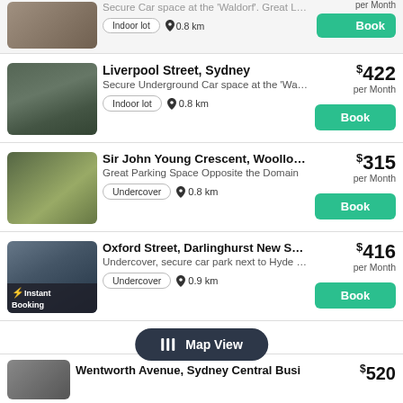[Figure (screenshot): Partial listing at top - truncated parking space at the Waldorf]
Secure Car space at the 'Waldorf'. Great Locati...
Indoor lot  0.8 km  per Month  Book
[Figure (photo): Street view photo of Liverpool Street, Sydney with trees and buildings]
Liverpool Street, Sydney
Secure Underground Car space at the 'Waldorf...
$422 per Month
Indoor lot  0.8 km
Book
[Figure (photo): Outdoor parking area with vegetation - Sir John Young Crescent]
Sir John Young Crescent, Woolloomoolo...
Great Parking Space Opposite the Domain
$315 per Month
Undercover  0.8 km
Book
[Figure (photo): Oxford Street Darlinghurst parking with Instant Booking badge]
Oxford Street, Darlinghurst New South ...
Undercover, secure car park next to Hyde Park
$416 per Month
Undercover  0.9 km
Book
Map View
[Figure (photo): Partial bottom listing photo]
Wentworth Avenue, Sydney Central Busi
$520